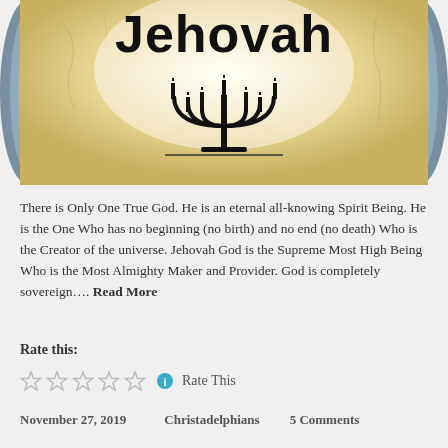[Figure (illustration): A scroll-like background image with the word 'Jehovah' in large bold black text at the top, and a black menorah symbol below the text. The scroll has a parchment/aged appearance with blue-grey edges.]
There is Only One True God. He is an eternal all-knowing Spirit Being. He is the One Who has no beginning (no birth) and no end (no death) Who is the Creator of the universe. Jehovah God is the Supreme Most High Being Who is the Most Almighty Maker and Provider. God is completely sovereign.... Read More
Rate this:
Rate This
November 27, 2019    Christadelphians    5 Comments